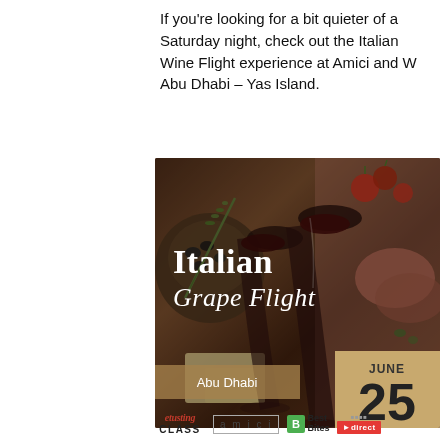If you’re looking for a bit quieter of a Saturday night, check out the Italian Wine Flight experience at Amici and W Abu Dhabi – Yas Island.
[Figure (photo): Promotional event image for Italian Grape Flight at Abu Dhabi, showing two red wine glasses and a charcuterie board with olives, tomatoes, prosciutto and cheese. Overlaid text reads 'Italian Grape Flight', location badge 'Abu Dhabi', and date badge 'JUNE 25'. Logos at bottom include The Tasting Class, amici, Best Bites, and #direct.]